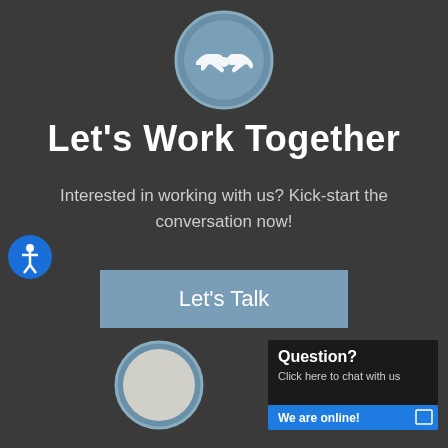[Figure (illustration): Handshake icon inside a circular border with a light blue/steel color scheme, centered near the top of the page]
Let's Work Together
Interested in working with us? Kick-start the conversation now!
[Figure (other): Button labeled 'Let's Talk' with a steel blue background]
[Figure (illustration): Circular avatar/profile icon at the bottom center, with light gray interior and steel blue border]
[Figure (other): Chat widget in bottom right corner with text 'Question? Click here to chat with us' and 'We are online!' on a blue bar]
[Figure (other): Accessibility icon: blue circle with white person figure, positioned on the left side]